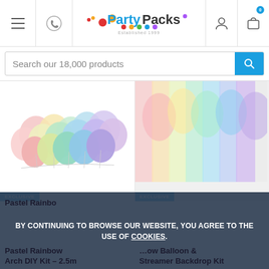PartyPacks — Established 1999
Search our 18,000 products
[Figure (photo): Pastel rainbow balloon arch arrangement on white background]
[Figure (photo): Pastel rainbow balloon and streamer backdrop kit, blurred colourful background]
EXCLUSIVE
EXCLUSIVE
BY CONTINUING TO BROWSE OUR WEBSITE, YOU AGREE TO THE USE OF COOKIES.
Close
Pastel Rainbow Arch DIY Kit – 2.5m
Price each: £11.94
Buy 10+: £10.75
Pastel Rainbow Balloon & Streamer Backdrop Kit
Price each: £13.50
Buy 10+: £12.16